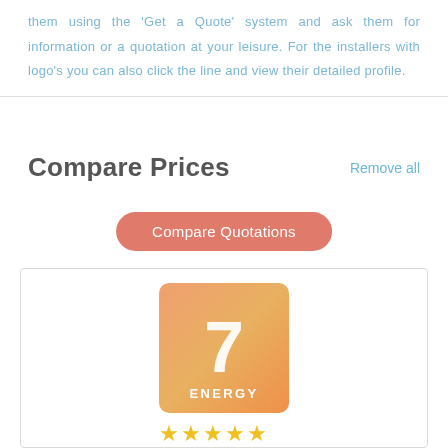them using the 'Get a Quote' system and ask them for information or a quotation at your leisure. For the installers with logo's you can also click the line and view their detailed profile.
Compare Prices
Remove all
Compare Quotations
[Figure (logo): 7 Energy company logo — orange/salmon gradient square with large white numeral 7 and 'ENERGY' text below, followed by 5 gold stars]
7 Energy Ltd